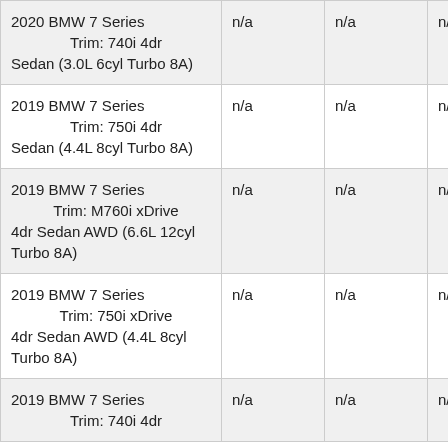| 2020 BMW 7 Series
    Trim: 740i 4dr Sedan (3.0L 6cyl Turbo 8A) | n/a | n/a | n/a |
| 2019 BMW 7 Series
    Trim: 750i 4dr Sedan (4.4L 8cyl Turbo 8A) | n/a | n/a | n/a |
| 2019 BMW 7 Series
    Trim: M760i xDrive 4dr Sedan AWD (6.6L 12cyl Turbo 8A) | n/a | n/a | n/a |
| 2019 BMW 7 Series
    Trim: 750i xDrive 4dr Sedan AWD (4.4L 8cyl Turbo 8A) | n/a | n/a | n/a |
| 2019 BMW 7 Series
    Trim: 740i 4dr ... | n/a | n/a | n/a |